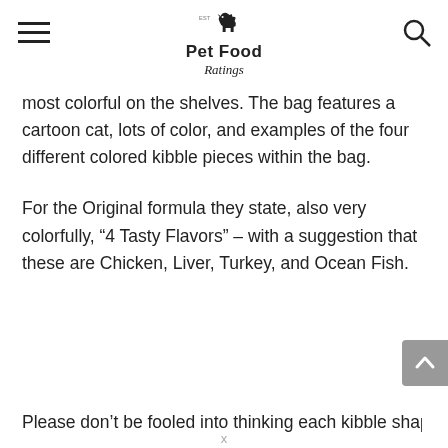Pet Food Ratings
most colorful on the shelves. The bag features a cartoon cat, lots of color, and examples of the four different colored kibble pieces within the bag.
For the Original formula they state, also very colorfully, “4 Tasty Flavors” – with a suggestion that these are Chicken, Liver, Turkey, and Ocean Fish.
Please don’t be fooled into thinking each kibble shape is